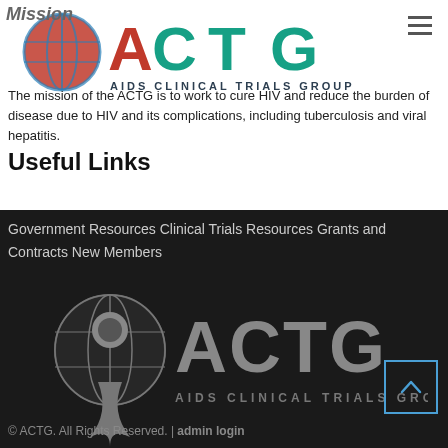[Figure (logo): ACTG AIDS Clinical Trials Group logo with red ribbon and globe, colorful version at top]
Mission
The mission of the ACTG is to work to cure HIV and reduce the burden of disease due to HIV and its complications, including tuberculosis and viral hepatitis.
Useful Links
Government Resources Clinical Trials Resources Grants and Contracts New Members
[Figure (logo): ACTG AIDS Clinical Trials Group logo in grayscale on dark background]
© ACTG. All Rights Reserved. | admin login